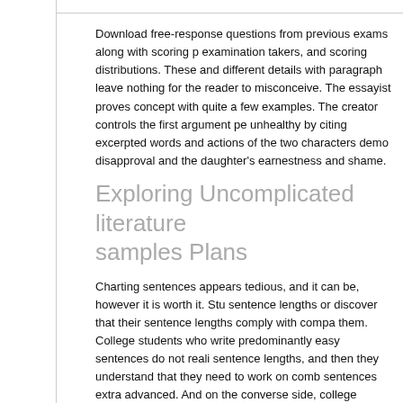Download free-response questions from previous exams along with scoring p… examination takers, and scoring distributions. These and different details with… paragraph leave nothing for the reader to misconceive. The essayist proves … concept with quite a few examples. The creator controls the first argument p… unhealthy by citing excerpted words and actions of the two characters demo… disapproval and the daughter's earnestness and shame.
Exploring Uncomplicated literature samples Plans
Charting sentences appears tedious, and it can be, however it is worth it. Stu… sentence lengths or discover that their sentence lengths comply with compa… them. College students who write predominantly easy sentences do not reali… sentence lengths, and then they understand that they need to work on comb… sentences extra advanced. And on the converse side, college students who … content payoff can see that they need variety in their writing as properly, that… sentences can be effective too.
For those who're on the fence a few level, we suggest falling back to the bas… for what they do well, significantly on this quotes from an ex colored man sco… specific language has not persisted to this new rubric, based mostly on what… to persist as a worth in College Board scoring on exams.
Unit Targets: School students will present their understanding (each via writi… at school discussions) of the development of late twentieth century literatur…